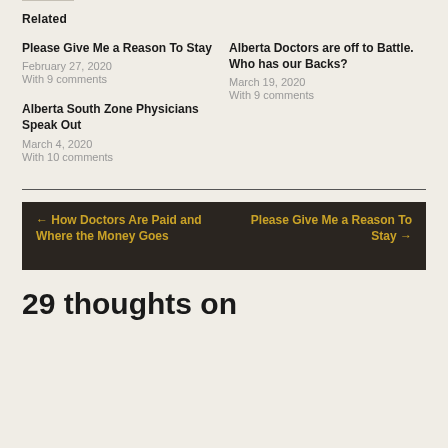Related
Please Give Me a Reason To Stay
February 27, 2020
With 9 comments
Alberta Doctors are off to Battle. Who has our Backs?
March 19, 2020
With 9 comments
Alberta South Zone Physicians Speak Out
March 4, 2020
With 10 comments
← How Doctors Are Paid and Where the Money Goes
Please Give Me a Reason To Stay →
29 thoughts on